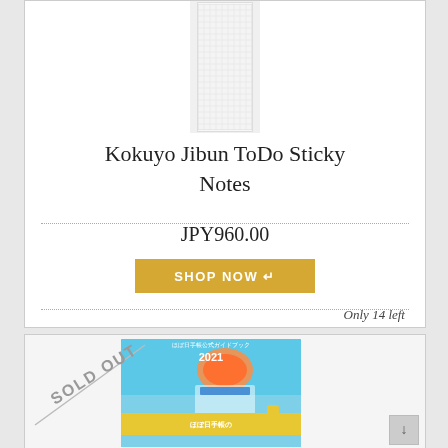[Figure (photo): Kokuyo Jibun ToDo Sticky Notes product image - tall narrow sticky note pad with N_TECHO text]
Kokuyo Jibun ToDo Sticky Notes
JPY960.00
SHOP NOW ↵
Only 14 left
[Figure (photo): Book cover with SOLD OUT diagonal watermark - Japanese planner guide book 2021 (ほぼ日手帳公式ガイドブック 2021) with colorful illustrated cover]